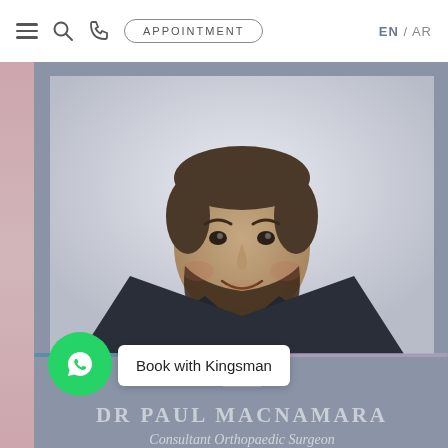≡  🔍  ☎  APPOINTMENT  EN / AR
[Figure (photo): Professional headshot of Dr. Paul Macnamara, a bearded man in a dark suit with a green tie, smiling, against a light grey background]
DR PAUL MACNAMARA
Consultant Orthopaedic Surgeon
Book with Kingsman